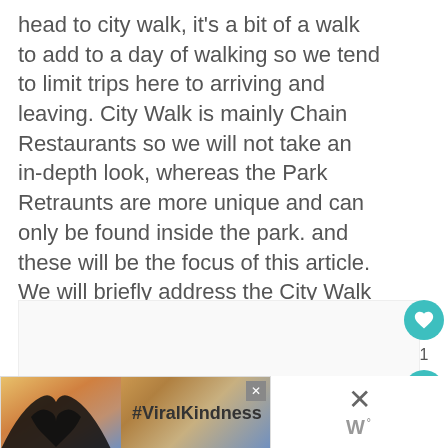head to city walk, it's a bit of a walk to add to a day of walking so we tend to limit trips here to arriving and leaving. City Walk is mainly Chain Restaurants so we will not take an in-depth look, whereas the Park Retraunts are more unique and can only be found inside the park. and these will be the focus of this article. We will briefly address the City Walk restaurants below as well.
[Figure (screenshot): White content area box below the text block, with sidebar UI icons: a teal heart button, a count of 1, and a teal share button on the right side.]
[Figure (screenshot): Advertisement banner at the bottom of the page showing hands forming a heart shape silhouette against a colorful sunset background with #ViralKindness text, and a close button with an X icon. To the right is a large X and a W logo.]